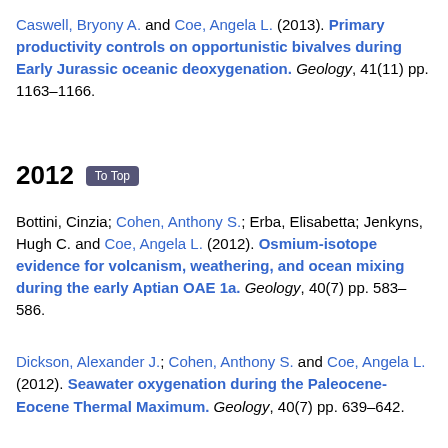Caswell, Bryony A. and Coe, Angela L. (2013). Primary productivity controls on opportunistic bivalves during Early Jurassic oceanic deoxygenation. Geology, 41(11) pp. 1163–1166.
2012
Bottini, Cinzia; Cohen, Anthony S.; Erba, Elisabetta; Jenkyns, Hugh C. and Coe, Angela L. (2012). Osmium-isotope evidence for volcanism, weathering, and ocean mixing during the early Aptian OAE 1a. Geology, 40(7) pp. 583–586.
Dickson, Alexander J.; Cohen, Anthony S. and Coe, Angela L. (2012). Seawater oxygenation during the Paleocene-Eocene Thermal Maximum. Geology, 40(7) pp. 639–642.